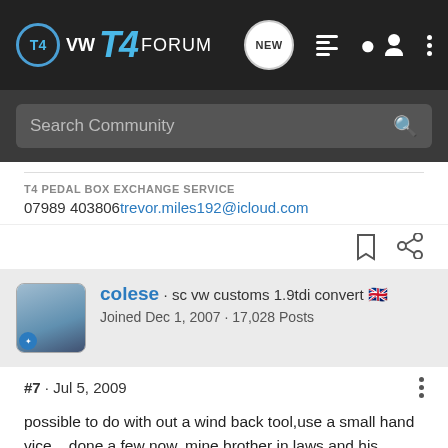[Figure (screenshot): VW T4 Forum navigation bar with logo, NEW button, list icon, user icon, and more options icon]
[Figure (screenshot): Search Community search bar on dark background]
T4 PEDAL BOX EXCHANGE SERVICE
07989 403806 trevor.miles192@icloud.com
[Figure (screenshot): Action icons: bookmark and share]
colese · sc vw customs 1.9tdi convert 🇬🇧
Joined Dec 1, 2007 · 17,028 Posts
#7 · Jul 5, 2009
possible to do with out a wind back tool,use a small hand vice....done a few now,.mine,brother in laws,and his mates...no probs at all,easy job i thought,and i am not that mech minded,better at taking um apart,than putting back together...